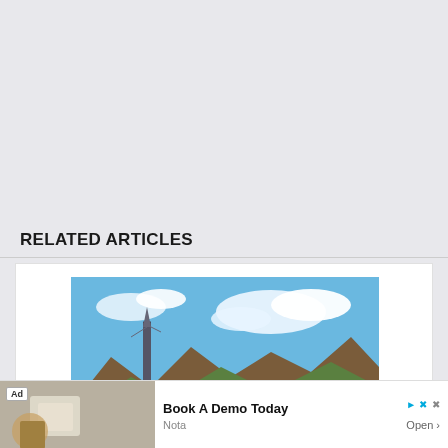RELATED ARTICLES
[Figure (photo): Tower of Fantasy game screenshot showing anime characters on a motorcycle with a fantasy landscape background including a tower, colorful clouds, and mountains]
Tower of Fantasy: How To Complete Doctor’s Coffee Side Quest
September 05, 2022
[Figure (photo): Two thumbnail images showing people, partially visible at the bottom of the card]
[Figure (photo): Advertisement banner: Book A Demo Today - Nota, with Open button and close/play controls]